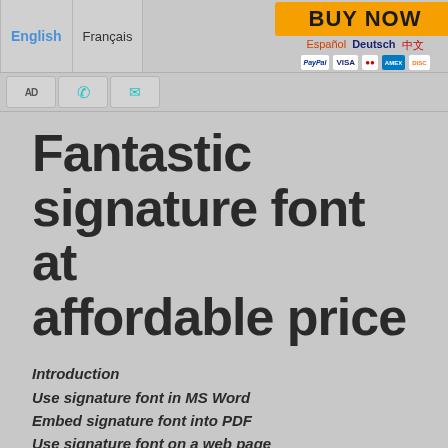[Figure (screenshot): Website navigation bar with language options (English, Français, Español, Deutsch, 中文, 日本語), a Buy Now button with payment logos (PayPal, Visa, Mastercard, Amex, Discover), a hamburger menu button in teal, and icon buttons for accessibility, phone, and mail.]
Fantastic signature font at affordable price
Introduction
Use signature font in MS Word
Embed signature font into PDF
Use signature font on a web page
Keywords: signature font